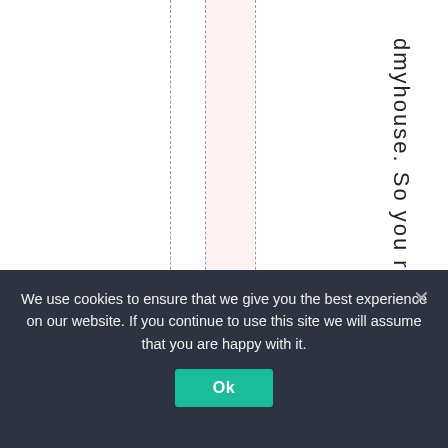[Figure (other): Layout with dashed vertical lines and a pink highlighted column, with vertical text reading 'dmyhouse. So you rcli' on the right side]
We use cookies to ensure that we give you the best experience on our website. If you continue to use this site we will assume that you are happy with it.
Ok